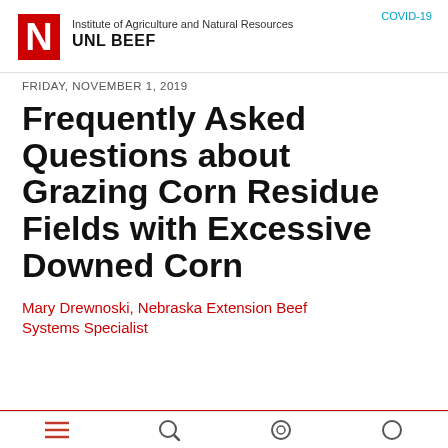Institute of Agriculture and Natural Resources UNL BEEF
COVID-19
FRIDAY, NOVEMBER 1, 2019
Frequently Asked Questions about Grazing Corn Residue Fields with Excessive Downed Corn
Mary Drewnoski, Nebraska Extension Beef Systems Specialist